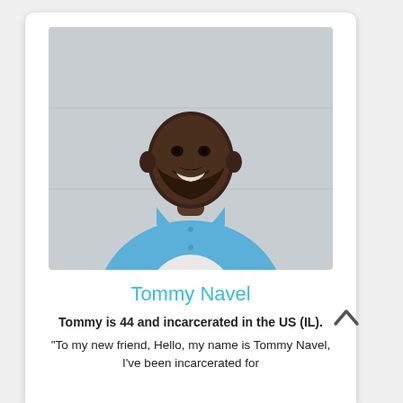[Figure (photo): Portrait photo of Tommy Navel, a man smiling, wearing a blue shirt over a white undershirt, photographed against a light gray/white wall background.]
Tommy Navel
Tommy is 44 and incarcerated in the US (IL).
"To my new friend, Hello, my name is Tommy Navel, I've been incarcerated for